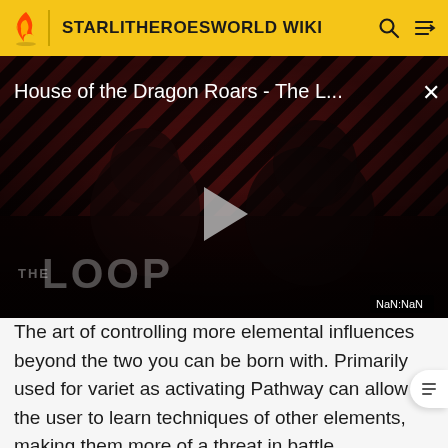STARLITHEROESWORLD WIKI
[Figure (screenshot): Video player showing 'House of the Dragon Roars - The L...' with a play button, diagonal stripe background in red/black, silhouetted figures, 'THE LOOP' watermark, and NaN:NaN timestamp]
The art of controlling more elemental influences beyond the two you can be born with. Primarily used for variet as activating Pathway can allow the user to learn techniques of other elements, making them more of a threat in battle.